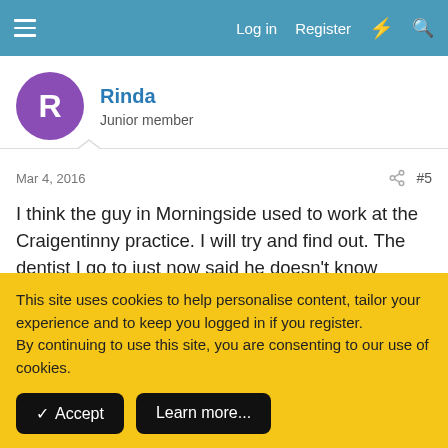Log in  Register
Rinda
Junior member
Mar 4, 2016  #5
I think the guy in Morningside used to work at the Craigentinny practice. I will try and find out. The dentist I go to just now said he doesn't know anyone else that's frightened of the dentist ? I find that hard to believe. I'm not with an NHS now so not really looking for one. I just need a good sympathetic dentist ?
This site uses cookies to help personalise content, tailor your experience and to keep you logged in if you register.
By continuing to use this site, you are consenting to our use of cookies.
✓ Accept   Learn more...